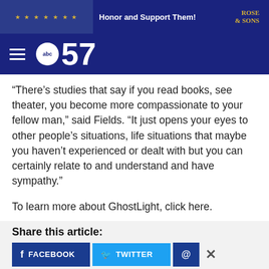[Figure (screenshot): Top advertisement banner for Rose & Sons with text 'Honor and Support Them!' on dark navy background]
[Figure (logo): ABC57 news navigation bar with hamburger menu icon and ABC57 logo on dark navy background]
“There’s studies that say if you read books, see theater, you become more compassionate to your fellow man,” said Fields. “It just opens your eyes to other people’s situations, life situations that maybe you haven’t experienced or dealt with but you can certainly relate to and understand and have sympathy.”
To learn more about GhostLight, click here.
Share this article:
[Figure (screenshot): Social share buttons: Facebook (dark blue), Twitter (light blue), and @ button (dark blue), with X close button]
[Figure (screenshot): Bottom advertisement: The perfect gift, with bowl image, navigation arrows, 35% OFF + FREE SHIPPING offer in gold box]